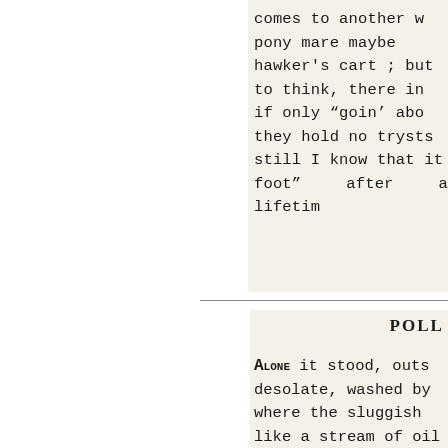comes to another w pony mare maybe hawker's cart; but to think, there in if only "goin' aboe they hold no trysts still I know that it foot" after a lifetim
POLLY
Alone it stood, outs desolate, washed by where the sluggish like a stream of oil